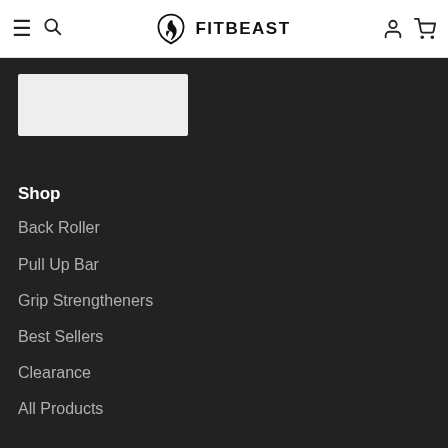FITBEAST
[Figure (logo): FitBeast logo with flame/beast icon and bold FITBEAST text]
Shop
Back Roller
Pull Up Bar
Grip Strengtheners
Best Sellers
Clearance
All Products